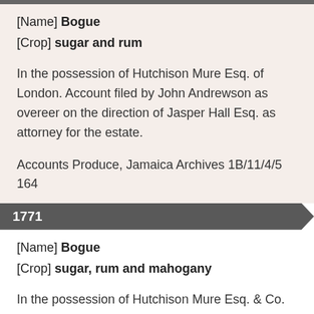[Name] Bogue
[Crop] sugar and rum
In the possession of Hutchison Mure Esq. of London. Account filed by John Andrewson as overeer on the direction of Jasper Hall Esq. as attorney for the estate.
Accounts Produce, Jamaica Archives 1B/11/4/5 164
1771
[Name] Bogue
[Crop] sugar, rum and mahogany
In the possession of Hutchison Mure Esq. & Co. of London. Account filed by John Andrewson as overeer on the direction of Jasper Hall Esq. as attorney for the estate.